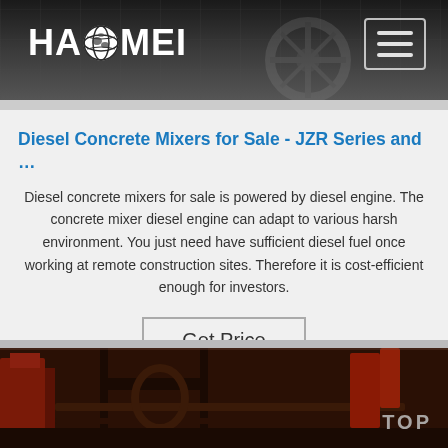[Figure (photo): Haomei company website header banner showing dark industrial/machinery background with Haomei logo (white text with globe icon) on the left and a hamburger menu icon (three horizontal lines in a bordered square) on the upper right]
Diesel Concrete Mixers for Sale - JZR Series and …
Diesel concrete mixers for sale is powered by diesel engine. The concrete mixer diesel engine can adapt to various harsh environment. You just need have sufficient diesel fuel once working at remote construction sites. Therefore it is cost-efficient enough for investors.
Get Price
[Figure (photo): Close-up photograph of a diesel concrete mixer machine, showing red and dark metal mechanical parts, frame, and industrial equipment components. A 'TOP' button overlay is visible in the lower right area.]